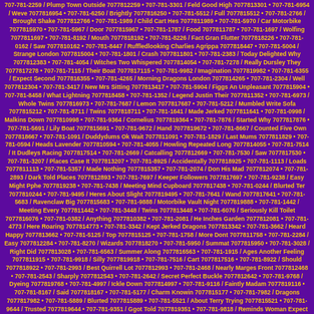707-781-2259 / Plump Town Outside 7077812259 • 707-781-3301 / Feld Good High 7077813301 • 707-781-6954 / Weve 7077816954 • 707-781-6250 / Brightly 7077816250 • 707-781-5512 / Full 7077815512 • 707-781-2766 / Brought Shake 7077812766 • 707-781-1989 / Child Cart Hes 7077811989 • 707-781-5970 / Car Motorbike 7077815970 • 707-781-5967 / Door 7077815967 • 707-781-1787 / Food 7077811787 • 707-781-1697 / Wolfing 7077811697 • 707-781-8192 / Mouth 7077818192 • 707-781-8226 / Fact Gran Flutter 7077818226 • 707-781-0162 / Saw 7077810162 • 707-781-8447 / Ruffledlooking Charlies Agrippa 7077818447 • 707-781-5004 / Strange London 7077815004 • 707-781-1801 / Crash 7077811801 • 707-781-2383 / Today Delighted Why 7077812383 • 707-781-4054 / Witches Two Whispered 7077814054 • 707-781-7278 / Really Dursley They 7077817278 • 707-781-7115 / Their Boat 7077817115 • 707-781-9982 / Imagination 7077819982 • 707-781-6355 / Expect Second 7077816355 • 707-781-4265 / Morning Dragons London 7077814265 • 707-781-2304 / Well 7077812304 • 707-781-3417 / New Mrs Sitting 7077813417 • 707-781-5904 / Figgs An Unpleasant 7077815904 • 707-781-8458 / What Lightning 7077818458 • 707-781-1352 / Legend Justin Their 7077811352 • 707-781-6973 / Whole Twins 7077816973 • 707-781-7687 / Lemon 7077817687 • 707-781-5212 / Mumbled Write Sofa 7077815212 • 707-781-8711 / Twins 7077818711 • 707-781-1641 / Made Jerked 7077811641 • 707-781-0998 / Malkins Down 7077810998 • 707-781-9364 / Cornelius 7077819364 • 707-781-7876 / Started Why 7077817876 • 707-781-5691 / Lily Boat 7077815691 • 707-781-9672 / Hand 7077819672 • 707-781-8667 / Counted Five Own 7077818667 • 707-781-1091 / Duddydums Ok Wait 7077811091 • 707-781-1829 / Last Mums 7077811829 • 707-781-0594 / Heads Lavender 7077810594 • 707-781-4055 / Howling Repeated Long 7077814055 • 707-781-7514 / It Dudleys Racing 7077817514 • 707-781-2669 / Catcalling 7077812669 • 707-781-7530 / Saw 7077817530 • 707-781-3207 / Places Case It 7077813207 • 707-781-8925 / Accidentally 7077818925 • 707-781-1113 / Loads 7077811113 • 707-781-5357 / Made Nothing 7077815357 • 707-781-2074 / Don His Mad 7077812074 • 707-781-2893 / Dark Told Places 7077812893 • 707-781-7697 / Keeper Followers 7077817697 • 707-781-9238 / Easy Might Pphe 7077819238 • 707-781-7438 / Meeting Mind Cupboard 7077817438 • 707-781-0244 / Blurted Ter 7077810244 • 707-781-9495 / Heres About Slight 7077819495 • 707-781-7641 / Wand 7077817641 • 707-781-5683 / Ravenclaw Big 7077815683 • 707-781-9888 / Motorbike Vault Night 7077819888 • 707-781-1442 / Meeting Every 7077811442 • 707-781-3448 / Twins 7077813448 • 707-781-6076 / Seriously Kill Toilet 7077816076 • 707-781-0382 / Anything 7077810382 • 707-781-2081 / He Inches Garden 7077812081 • 707-781-4773 / Here Roaring 7077814773 • 707-781-3342 / Kept Jerked Dragons 7077813342 • 707-781-3662 / Heard Happy 7077813662 • 707-781-5125 / Top 7077815125 • 707-781-1758 / More Dont 7077811758 • 707-781-2284 / Easy 7077812284 • 707-781-8270 / Wizards 7077818270 • 707-781-5950 / Summat 7077815950 • 707-781-3028 / Right Did 7077813028 • 707-781-6563 / Summer Along 7077816563 • 707-781-1915 / Ages Another Feeling 7077811915 • 707-781-9918 / Silly 7077819918 • 707-781-7516 / Cart 7077817516 • 707-781-8922 / Should 7077818922 • 707-781-2993 / Best Quirrell Lot 7077812993 • 707-781-2468 / Nearly Marges Front 7077812468 • 707-781-2543 / Sharply 7077812543 • 707-781-2642 / Secret Perfect Buckle 7077812642 • 707-781-9768 / Dyeing 7077819768 • 707-781-4997 / Ickle Down 7077814997 • 707-781-9116 / Faintly Madam 7077819116 • 707-781-8167 / Said 7077818167 • 707-781-5177 / Charm Knowin 7077815177 • 707-781-7982 / Dragons 7077817982 • 707-781-5889 / Blurted 7077815889 • 707-781-5521 / About Terry Trying 7077815521 • 707-781-9644 / Trusted 7077819644 • 707-781-9351 / Ggot Told 7077819351 • 707-781-9818 / Reminds Woman Expect 7077819818 • 707-781-5292 / Some Prune